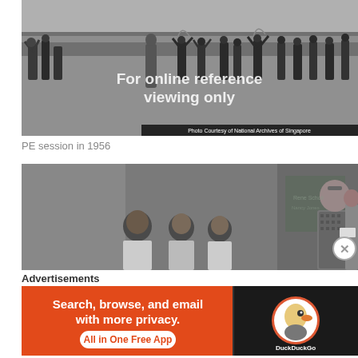[Figure (photo): Black and white photograph of students doing a PE session outdoors in a field, with a teacher in a dress watching. Children are raising their arms/hoops. Watermark reads 'For online reference viewing only'. Photo credit: Photo Courtesy of National Archives of Singapore.]
PE session in 1956
[Figure (photo): Black and white photograph of students in a classroom setting. Young children stand in the foreground, and a female teacher/adult in a patterned dress stands near a chalkboard.]
Advertisements
[Figure (screenshot): DuckDuckGo advertisement banner: orange background with text 'Search, browse, and email with more privacy. All in One Free App' and DuckDuckGo logo on the right.]